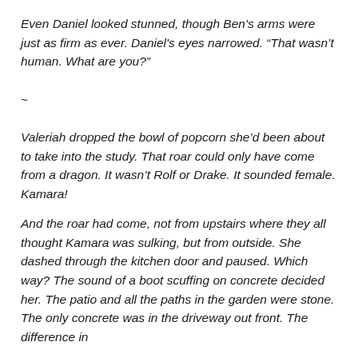Even Daniel looked stunned, though Ben's arms were just as firm as ever. Daniel's eyes narrowed. “That wasn’t human. What are you?”
~
Valeriah dropped the bowl of popcorn she’d been about to take into the study. That roar could only have come from a dragon. It wasn’t Rolf or Drake. It sounded female. Kamara!
And the roar had come, not from upstairs where they all thought Kamara was sulking, but from outside. She dashed through the kitchen door and paused. Which way? The sound of a boot scuffing on concrete decided her. The patio and all the paths in the garden were stone. The only concrete was in the driveway out front. The difference in